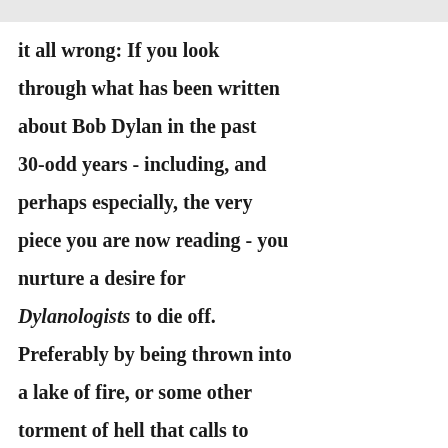it all wrong: If you look through what has been written about Bob Dylan in the past 30-odd years - including, and perhaps especially, the very piece you are now reading - you nurture a desire for Dylanologists to die off. Preferably by being thrown into a lake of fire, or some other torment of hell that calls to